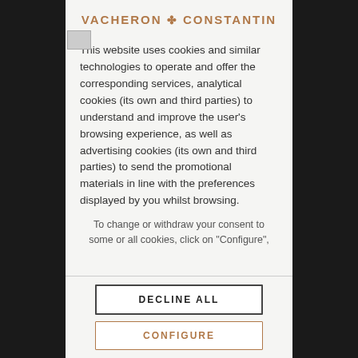VACHERON ✤ CONSTANTIN
This website uses cookies and similar technologies to operate and offer the corresponding services, analytical cookies (its own and third parties) to understand and improve the user's browsing experience, as well as advertising cookies (its own and third parties) to send the promotional materials in line with the preferences displayed by you whilst browsing.
To change or withdraw your consent to some or all cookies, click on "Configure",
DECLINE ALL
CONFIGURE